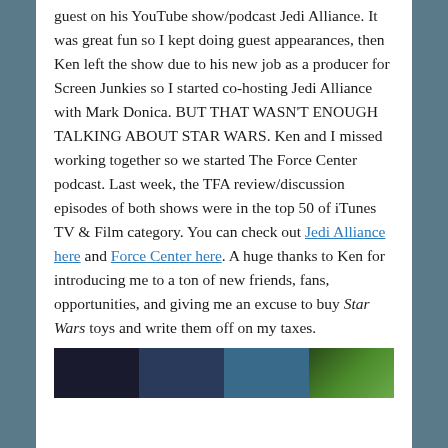guest on his YouTube show/podcast Jedi Alliance. It was great fun so I kept doing guest appearances, then Ken left the show due to his new job as a producer for Screen Junkies so I started co-hosting Jedi Alliance with Mark Donica. BUT THAT WASN'T ENOUGH TALKING ABOUT STAR WARS. Ken and I missed working together so we started The Force Center podcast. Last week, the TFA review/discussion episodes of both shows were in the top 50 of iTunes TV & Film category. You can check out Jedi Alliance here and Force Center here. A huge thanks to Ken for introducing me to a ton of new friends, fans, opportunities, and giving me an excuse to buy Star Wars toys and write them off on my taxes.
[Figure (photo): A horizontal image strip showing dark-toned scenes, likely Star Wars related imagery]